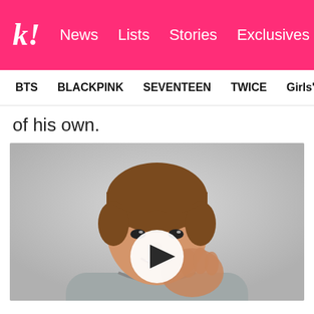k! News  Lists  Stories  Exclusives
BTS  BLACKPINK  SEVENTEEN  TWICE  Girls' Generation
of his own.
[Figure (photo): Young man with brown bowl-cut hair smiling and gesturing toward camera, wearing a light grey hoodie, with a video play button overlay in the center of the image.]